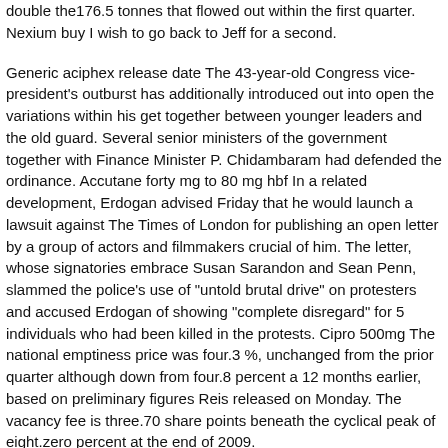double the176.5 tonnes that flowed out within the first quarter. Nexium buy I wish to go back to Jeff for a second.
Generic aciphex release date The 43-year-old Congress vice-president's outburst has additionally introduced out into open the variations within his get together between younger leaders and the old guard. Several senior ministers of the government together with Finance Minister P. Chidambaram had defended the ordinance. Accutane forty mg to 80 mg hbf In a related development, Erdogan advised Friday that he would launch a lawsuit against The Times of London for publishing an open letter by a group of actors and filmmakers crucial of him. The letter, whose signatories embrace Susan Sarandon and Sean Penn, slammed the police's use of "untold brutal drive" on protesters and accused Erdogan of showing "complete disregard" for 5 individuals who had been killed in the protests. Cipro 500mg The national emptiness price was four.3 %, unchanged from the prior quarter although down from four.8 percent a 12 months earlier, based on preliminary figures Reis released on Monday. The vacancy fee is three.70 share points beneath the cyclical peak of eight.zero percent at the end of 2009.
The turnaround was pushed by consumer spending and industrial output, though funding dropped again. I'd like to change some cash